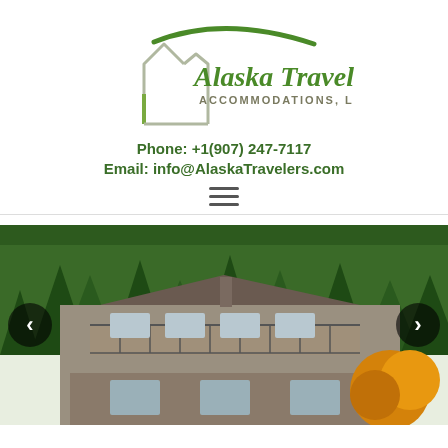[Figure (logo): Alaska Travelers Accommodations LLC logo with green house outline and swoosh above the text]
Phone:  +1(907) 247-7117
Email:  info@AlaskaTravelers.com
[Figure (other): Hamburger menu icon (three horizontal lines)]
[Figure (photo): Photo of a multi-story chalet/cabin style building with decks, surrounded by tall evergreen trees, with autumn foliage in the lower right. Navigation arrows on left and right sides.]